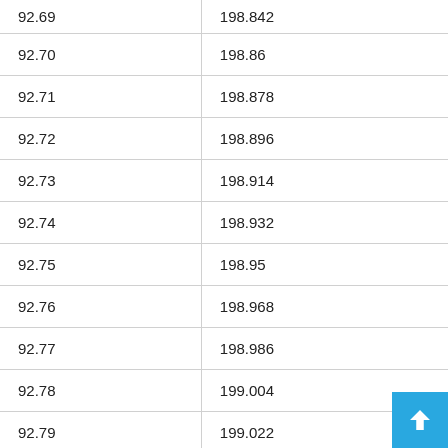| 92.69 | 198.842 |
| 92.70 | 198.86 |
| 92.71 | 198.878 |
| 92.72 | 198.896 |
| 92.73 | 198.914 |
| 92.74 | 198.932 |
| 92.75 | 198.95 |
| 92.76 | 198.968 |
| 92.77 | 198.986 |
| 92.78 | 199.004 |
| 92.79 | 199.022 |
| 92.80 | 199.04 |
| 92.81 | 199.058 |
| 92.82 | 199.076 |
| 92.83 | 199.094 |
| 92.84 | 199.112 |